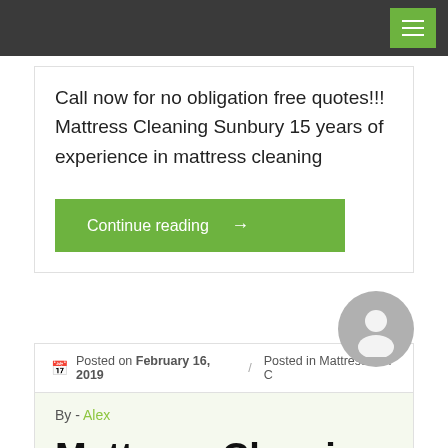Call now for no obligation free quotes!!! Mattress Cleaning Sunbury 15 years of experience in mattress cleaning
Continue reading →
Posted on February 16, 2019 / Posted in Mattress C…C
By - Alex
Mattress Cleaning